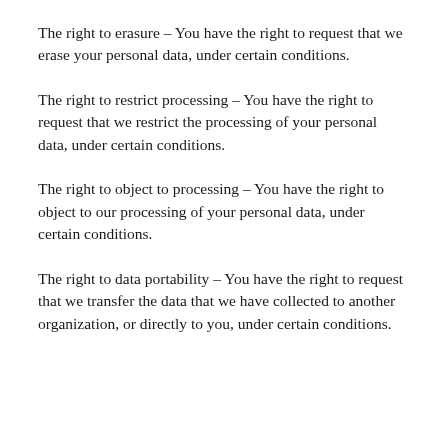The right to erasure – You have the right to request that we erase your personal data, under certain conditions.
The right to restrict processing – You have the right to request that we restrict the processing of your personal data, under certain conditions.
The right to object to processing – You have the right to object to our processing of your personal data, under certain conditions.
The right to data portability – You have the right to request that we transfer the data that we have collected to another organization, or directly to you, under certain conditions.